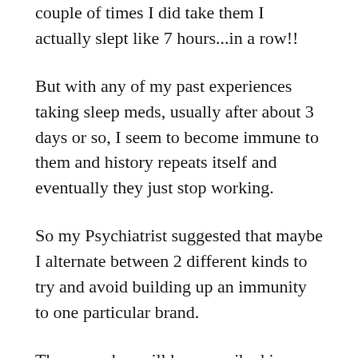couple of times I did take them I actually slept like 7 hours...in a row!!
But with any of my past experiences taking sleep meds, usually after about 3 days or so, I seem to become immune to them and history repeats itself and eventually they just stop working.
So my Psychiatrist suggested that maybe I alternate between 2 different kinds to try and avoid building up an immunity to one particular brand.
The secondary pill he prescribed is pretty new on the market and came with a bit more risk to me when it comes to its long laundry list of